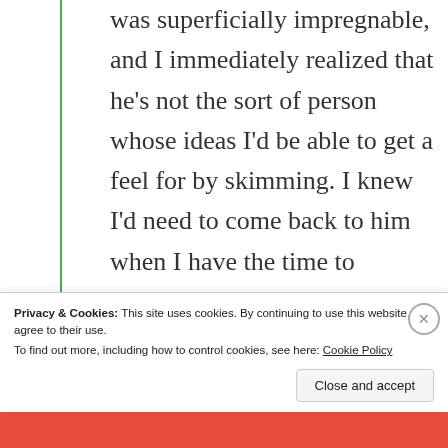was superficially impregnable, and I immediately realized that he's not the sort of person whose ideas I'd be able to get a feel for by skimming. I knew I'd need to come back to him when I have the time to dedicate to him…so I plan on doing that.
Privacy & Cookies: This site uses cookies. By continuing to use this website, you agree to their use. To find out more, including how to control cookies, see here: Cookie Policy
Close and accept